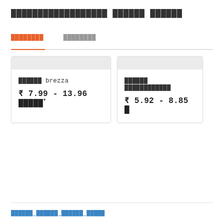██████████████████ ██████ ██████
████████   ████████
██████ brezza
₹ 7.99 - 13.96 █████*
██████ ████████████
₹ 5.92 - 8.85 █
██████ ██████ ██████ █████